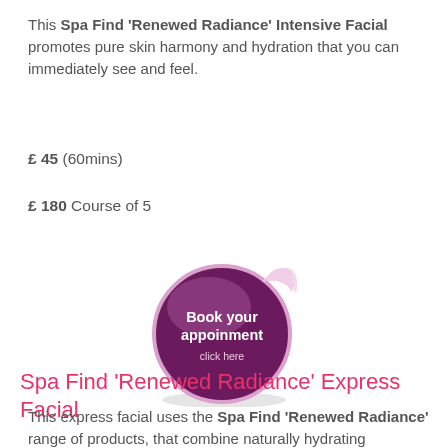This Spa Find 'Renewed Radiance' Intensive Facial promotes pure skin harmony and hydration that you can immediately see and feel.
£ 45 (60mins)
£ 180 Course of 5
[Figure (illustration): A purple round button/badge with a peeling corner effect showing 'Book your appoinment click here' in white text on a dark purple background with pink/lavender highlights.]
Spa Find 'Renewed Radiance' Express Facial
This express facial uses the Spa Find 'Renewed Radiance' range of products, that combine naturally hydrating ingredients to nourish and renew the driest of complexions,